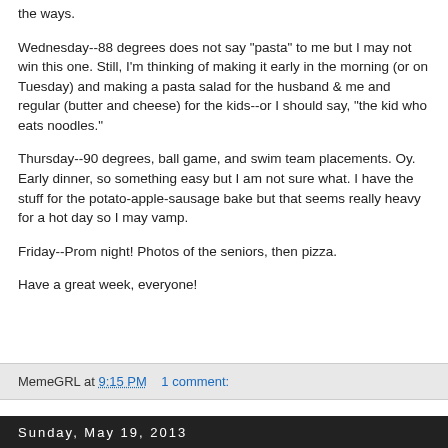the ways.
Wednesday--88 degrees does not say "pasta" to me but I may not win this one. Still, I'm thinking of making it early in the morning (or on Tuesday) and making a pasta salad for the husband & me and regular (butter and cheese) for the kids--or I should say, "the kid who eats noodles."
Thursday--90 degrees, ball game, and swim team placements. Oy. Early dinner, so something easy but I am not sure what. I have the stuff for the potato-apple-sausage bake but that seems really heavy for a hot day so I may vamp.
Friday--Prom night! Photos of the seniors, then pizza.
Have a great week, everyone!
MemeGRL at 9:15 PM   1 comment:
Sunday, May 19, 2013